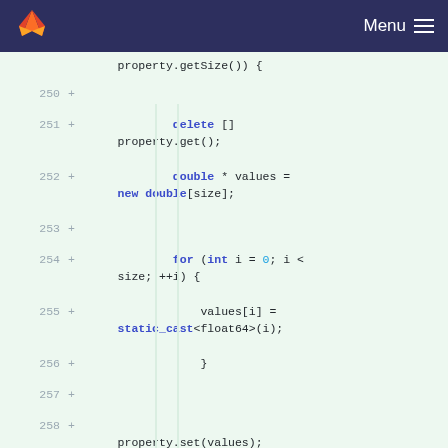Menu
[Figure (screenshot): GitLab code diff view showing lines 250-262 of C++ code with additions marked by '+', on a light green background. Code includes: property.getSize()) {, delete [] property.get();, double * values = new double[size];, for (int i = 0; i < size; ++i) {, values[i] = static_cast<float64>(i);, }, property.set(values);, property.setSize(size);, }, }]